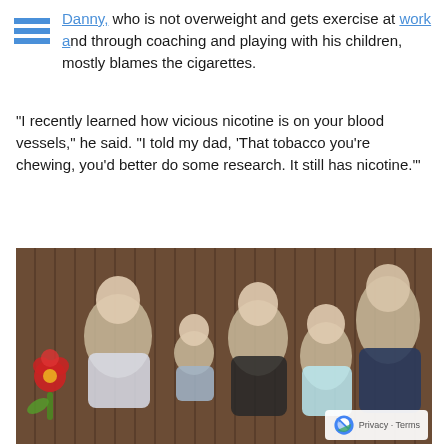Danny, who is not overweight and gets exercise at work and through coaching and playing with his children, mostly blames the cigarettes.
"I recently learned how vicious nicotine is on your blood vessels," he said. "I told my dad, 'That tobacco you're chewing, you'd better do some research. It still has nicotine.'"
[Figure (photo): Family photo of a man, woman, and three children posing in front of a wooden fence outdoors. A red flower decoration is visible on the left.]